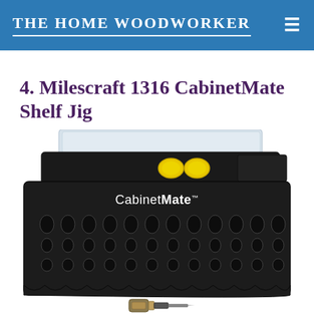THE HOME WOODWORKER
4. Milescraft 1316 CabinetMate Shelf Jig
[Figure (photo): Photo of the Milescraft 1316 CabinetMate Shelf Jig — a black plastic shelf pin drilling jig with multiple holes arranged in rows, a clear acrylic fence piece on top with two yellow depth stop knobs, and a drill bit accessory shown below.]